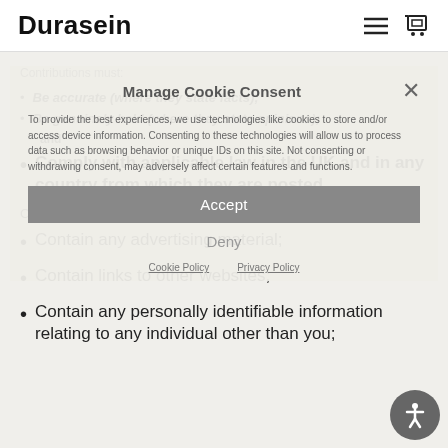Durasein
Manage Cookie Consent
To provide the best experiences, we use technologies like cookies to store and/or access device information. Consenting to these technologies will allow us to process data such as browsing behavior or unique IDs on this site. Not consenting or withdrawing consent, may adversely affect certain features and functions.
Contributions must:
Be accurate (where they state facts);
Be genuinely held (where they state opinions);
and
Comply with applicable law in the UK and in any country from which they are posted.
Accept
Contributions must not:
Deny
Contain any advertising material;
Contain links to other websites;
Contain any personally identifiable information relating to any individual other than you;
Cookie Policy   Privacy Policy